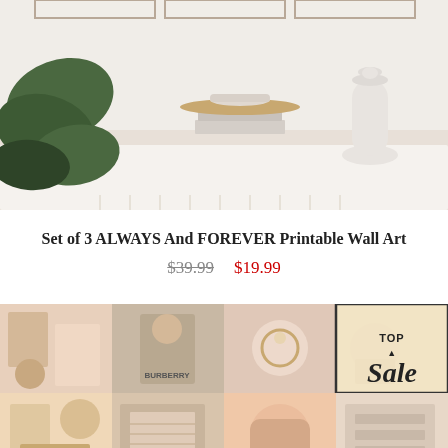[Figure (photo): Minimalist home decor photo showing a white table with a plant, stacked books with a small bowl on a wooden tray, and a white vase. Three framed art prints hang on the wall in the background.]
Set of 3 ALWAYS And FOREVER Printable Wall Art
$39.99  $19.99
[Figure (photo): Collage of lifestyle and fashion photos in warm peach and neutral tones, featuring fashion items, accessories, and a 'TOP Sale' badge overlay in the top right corner.]